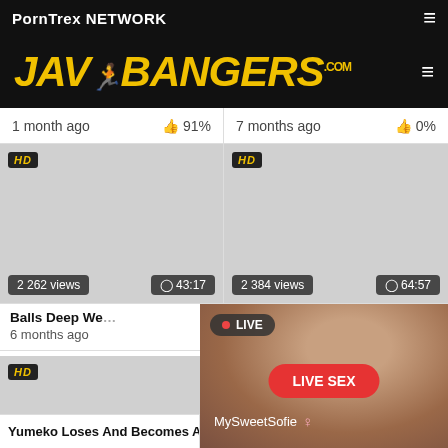PornTrex NETWORK
[Figure (logo): JAV BANGERS .com logo in yellow italic bold font on black background]
1 month ago  👍 91%
7 months ago  👍 0%
[Figure (screenshot): HD video thumbnail, dark/blank, 2 262 views, 43:17 duration]
[Figure (screenshot): HD video thumbnail, dark/blank, 2 384 views, 64:57 duration]
Balls Deep We...
6 months ago
[Figure (screenshot): HD video thumbnail, 1 759 views]
[Figure (photo): Live overlay showing woman, LIVE badge, MysweetSofie user, LIVE SEX button]
Yumeko Loses And Becomes A
169. Strapless Dildos at the